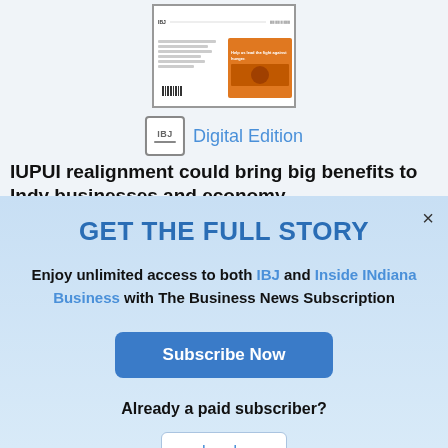[Figure (screenshot): Thumbnail of a newspaper digital edition showing a newspaper front page with an orange advertisement banner]
IBJ Digital Edition
IUPUI realignment could bring big benefits to Indy businesses and economy
Susan Orr and Taylor Wooten
GET THE FULL STORY
Enjoy unlimited access to both IBJ and Inside INdiana Business with The Business News Subscription
Subscribe Now
Already a paid subscriber?
Log In